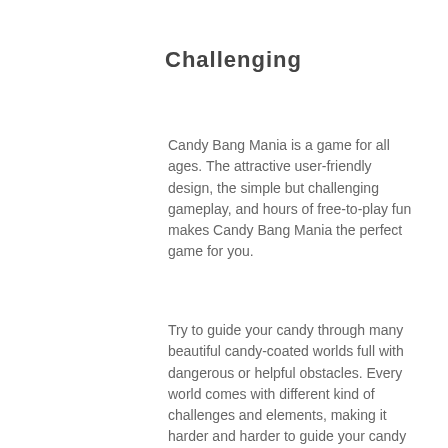Challenging
Candy Bang Mania is a game for all ages. The attractive user-friendly design, the simple but challenging gameplay, and hours of free-to-play fun makes Candy Bang Mania the perfect game for you.
Try to guide your candy through many beautiful candy-coated worlds full with dangerous or helpful obstacles. Every world comes with different kind of challenges and elements, making it harder and harder to guide your candy on a save path.
[Figure (photo): Broken/missing image placeholder in a light gray bordered box]
Fun